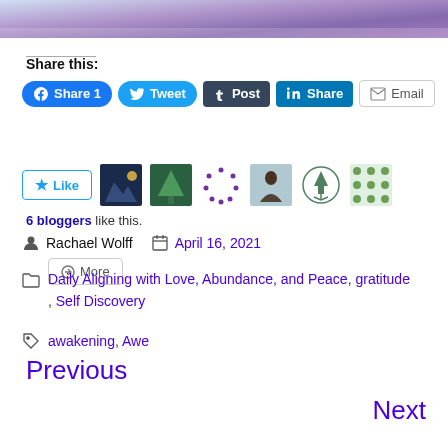[Figure (photo): Blurred purple/blue image strip at top of page]
Share this:
[Figure (screenshot): Social share buttons: Facebook Share 1, Tweet, Post (Tumblr), LinkedIn Share, Email, More]
[Figure (screenshot): Like button and 6 blogger avatars widget]
6 bloggers like this.
Rachael Wolff   April 16, 2021
Daily Aligning with Love, Abundance, and Peace, gratitude, Self Discovery
awakening, Awe
Previous
Next